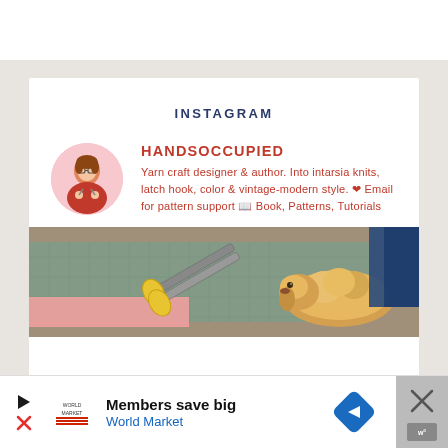INSTAGRAM
HANDSOCCUPIED
Yarn craft designer & author. Into intarsia knits, latch hook, color & vintage-modern style. ❤ Email for pattern support 📖 Book, Patterns, Tutorials
[Figure (photo): Photo of scissors with yellow handles, yarn, and a fluffy dog lying on a cutting mat]
Members save big
World Market